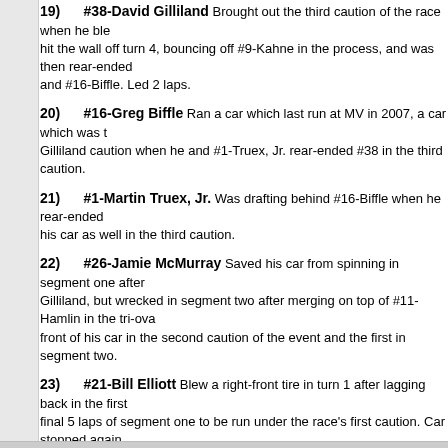19) #38-David Gilliland Brought out the third caution of the race when he blew a tire and hit the wall off turn 4, bouncing off #9-Kahne in the process, and was then rear-ended and #16-Biffle. Led 2 laps.
20) #16-Greg Biffle Ran a car which last run at MV in 2007, a car which was the Gilliland caution when he and #1-Truex, Jr. rear-ended #38 in the third caution.
21) #1-Martin Truex, Jr. Was drafting behind #16-Biffle when he rear-ended his car as well in the third caution.
22) #26-Jamie McMurray Saved his car from spinning in segment one after Gilliland, but wrecked in segment two after merging on top of #11-Hamlin in the tri-oval front of his car in the second caution of the event and the first in segment two.
23) #21-Bill Elliott Blew a right-front tire in turn 1 after lagging back in the first final 5 laps of segment one to be run under the race's first caution. Car stopped again difficult to drag down the banking.
Posted by Brock Beard at 5:51 PM
No comments:
Post a Comment